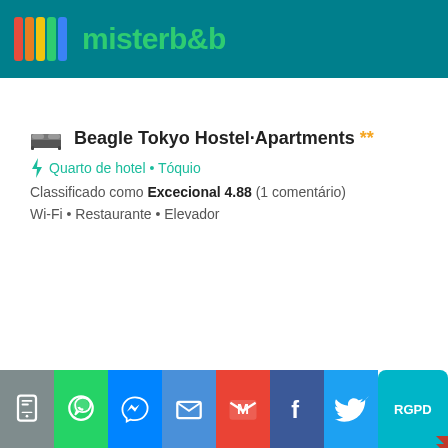misterb&b
Beagle Tokyo Hostel·Apartments **
Quarto de hotel • Tóquio
Classificado como Excecional 4.88 (1 comentário)
Wi-Fi • Restaurante • Elevador
Share bar: SMS, WhatsApp, Messenger, Email, Gmail, Facebook, Twitter, RGPD